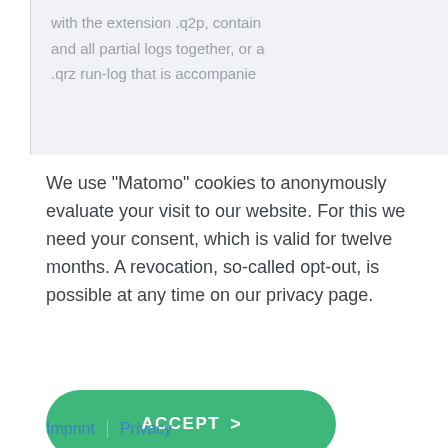with the extension .q2p, contain and all partial logs together, or a .qrz run-log that is accompanie
We use "Matomo" cookies to anonymously evaluate your visit to our website. For this we need your consent, which is valid for twelve months. A revocation, so-called opt-out, is possible at any time on our privacy page.
ACCEPT >
CONFIGURATION >
Imprint | Privacy